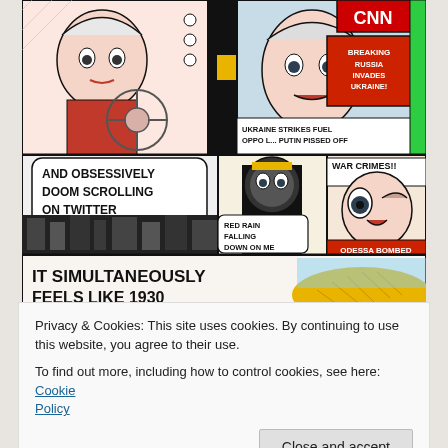[Figure (illustration): Comic strip panels in pop-art style. Top panels show a woman driving looking at a steering wheel, a CNN news ticker with 'BREAKING RUSSIA INVADES UKRAINE' and text 'UKRAINE STRIKES FUEL OPPO L... PUTIN PISSED OFF'. Middle panels show a speech bubble saying 'AND OBSESSIVELY DOOM SCROLLING ON TWITTER', a masked figure with speech bubble 'RED RAIN FALLING DOWN ON ME', and a child's face with text 'WAR CRIMES!!' and 'ODESSA BOMBED'. Bottom panel partially visible with text 'IT SIMULTANEOUSLY FEELS LIKE 1930'.]
Privacy & Cookies: This site uses cookies. By continuing to use this website, you agree to their use.
To find out more, including how to control cookies, see here: Cookie Policy
Close and accept
WAR AND PEACE 2.0 by Emily Steinberg